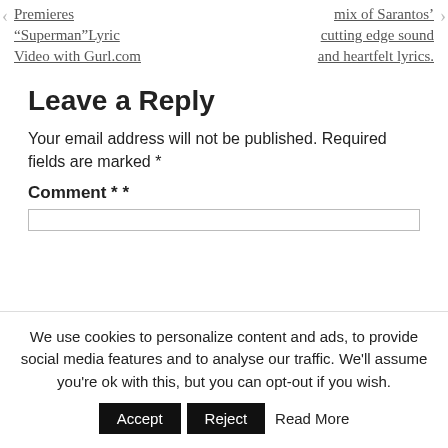Premieres “Superman”Lyric Video with Gurl.com
mix of Sarantos’ cutting edge sound and heartfelt lyrics.
Leave a Reply
Your email address will not be published. Required fields are marked *
Comment * *
We use cookies to personalize content and ads, to provide social media features and to analyse our traffic. We'll assume you're ok with this, but you can opt-out if you wish.  Accept  Reject  Read More